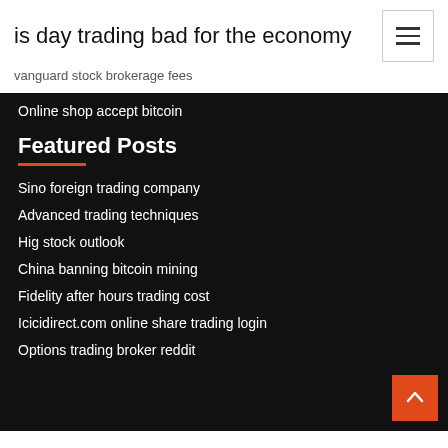is day trading bad for the economy
vanguard stock brokerage fees
Online shop accept bitcoin
Featured Posts
Sino foreign trading company
Advanced trading techniques
Hig stock outlook
China banning bitcoin mining
Fidelity after hours trading cost
Icicidirect.com online share trading login
Options trading broker reddit